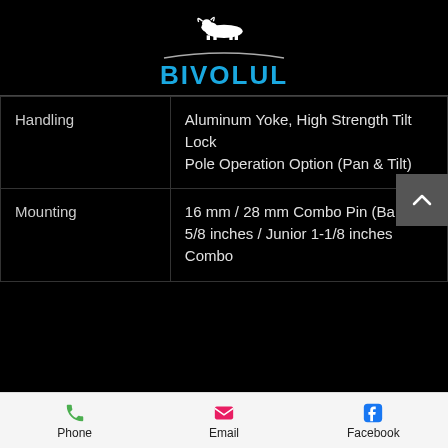[Figure (logo): Bivolul brand logo with buffalo silhouette and arc, blue text BIVOLUL]
| Property | Value |
| --- | --- |
| Handling | Aluminum Yoke, High Strength Tilt Lock Pole Operation Option (Pan & Tilt) |
| Mounting | 16 mm / 28 mm Combo Pin (Baby 5/8 inches / Junior 1-1/8 inches Combo |
Phone   Email   Facebook